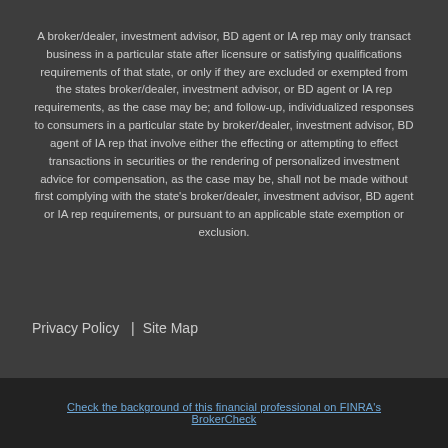A broker/dealer, investment advisor, BD agent or IA rep may only transact business in a particular state after licensure or satisfying qualifications requirements of that state, or only if they are excluded or exempted from the states broker/dealer, investment advisor, or BD agent or IA rep requirements, as the case may be; and follow-up, individualized responses to consumers in a particular state by broker/dealer, investment advisor, BD agent of IA rep that involve either the effecting or attempting to effect transactions in securities or the rendering of personalized investment advice for compensation, as the case may be, shall not be made without first complying with the state's broker/dealer, investment advisor, BD agent or IA rep requirements, or pursuant to an applicable state exemption or exclusion.
Privacy Policy  |  Site Map
Check the background of this financial professional on FINRA's BrokerCheck